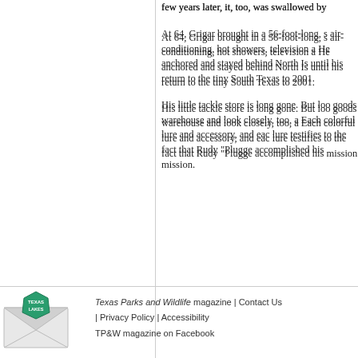few years later, it, too, was swallowed by
At 64, Grigar brought in a 56-foot-long, s air-conditioning, hot showers, television . He anchored and stayed behind North Is until his return to the tiny South Texas to 2001.
His little tackle store is long gone. But lo goods warehouse and look closely, too, a Each colorful lure and accessory, and ea lure testifies to the fact that Rudy "Plugge accomplished his mission.
[Figure (illustration): Texas Lakes envelope/mail icon in teal and white colors — a stylized open envelope with a diamond/shield badge showing 'TEXAS LAKES' text]
Sign up for email updates | Texas Parks and Wildlife magazine | Contact Us | Privacy Policy | Accessibility | TP&W magazine on Facebook